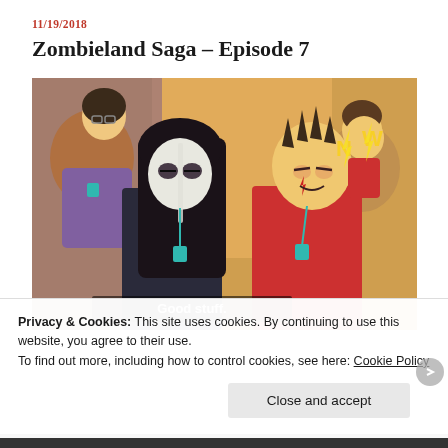11/19/2018
Zombieland Saga – Episode 7
[Figure (illustration): Anime screenshot from Zombieland Saga Episode 7 showing two zombie characters at what appears to be a convention or concert event. The character on the left has long dark hair and a white zombie face with dark markings, wearing a black outfit with a teal lanyard. The character on the right is a male zombie with spiky hair and a red outfit, also wearing a teal lanyard, with lightning bolt effects around him. Subtitle text reads 'Good stuff.' at the bottom of the image.]
Privacy & Cookies: This site uses cookies. By continuing to use this website, you agree to their use.
To find out more, including how to control cookies, see here: Cookie Policy
Close and accept